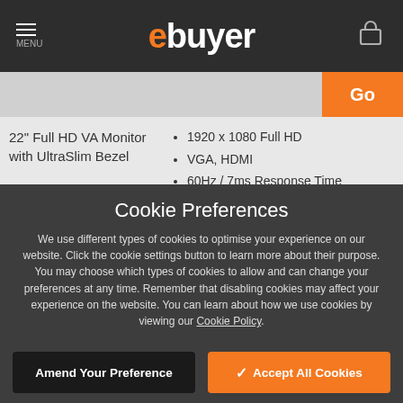ebuyer — MENU / Cart
22" Full HD VA Monitor with UltraSlim Bezel • 1920 x 1080 Full HD • VGA, HDMI • 60Hz / 7ms Response Time £109.98
Cookie Preferences
We use different types of cookies to optimise your experience on our website. Click the cookie settings button to learn more about their purpose. You may choose which types of cookies to allow and can change your preferences at any time. Remember that disabling cookies may affect your experience on the website. You can learn about how we use cookies by viewing our Cookie Policy.
Amend Your Preference
✓ Accept All Cookies